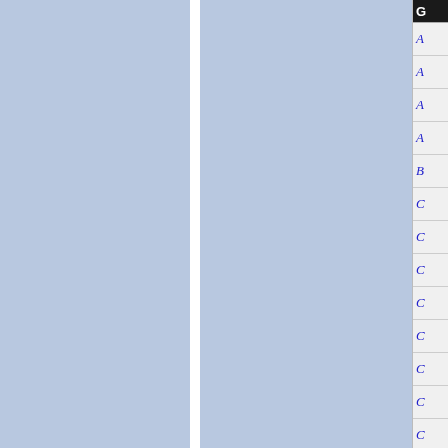[Figure (other): Two blue-gray panels separated by a white vertical divider, occupying the left portion of the page. The right edge has a narrow sidebar.]
| G |
| --- |
| A |
| A |
| A |
| A |
| B |
| C |
| C |
| C |
| C |
| C |
| C |
| C |
| C |
| C |
| C |